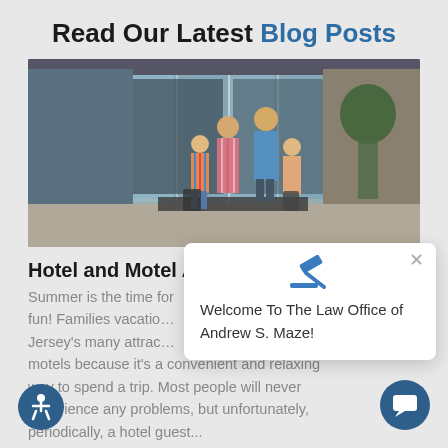Read Our Latest Blog Posts
[Figure (photo): Family with luggage entering a modern hotel lobby with glass revolving doors and plants]
Hotel and Motel Accidents
Summer is the time for fun! Families vacationing at New Jersey's many attractions stay in hotels and motels because it's a convenient and relaxing way to spend a trip. Most people will never experience any problems, but unfortunately, periodically, a hotel guest...
Welcome To The Law Office of Andrew S. Maze!